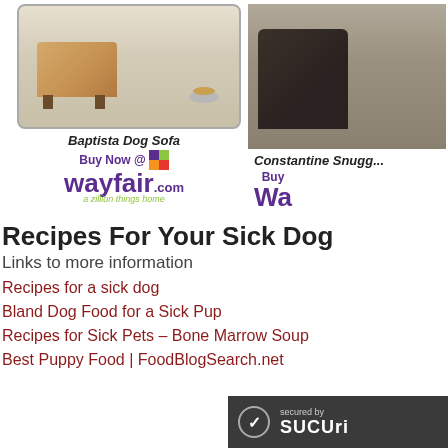[Figure (photo): Product photo of Baptista Dog Sofa - beige sofa with dog food bowl on light carpet]
Baptista Dog Sofa
[Figure (logo): Buy Now @ wayfair.com - a zillion things home]
[Figure (photo): Product photo of Constantine Snuggle - dark chair on textured carpet]
Constantine Snugg...
[Figure (logo): Buy Now @ Wa... (wayfair.com)]
Recipes For Your Sick Dog
Links to more information
Recipes for a sick dog
Bland Dog Food for a Sick Pup
Recipes for Sick Pets – Bone Marrow Soup
Best Puppy Food | FoodBlogSearch.net
[Figure (logo): Secured by Sucuri badge]